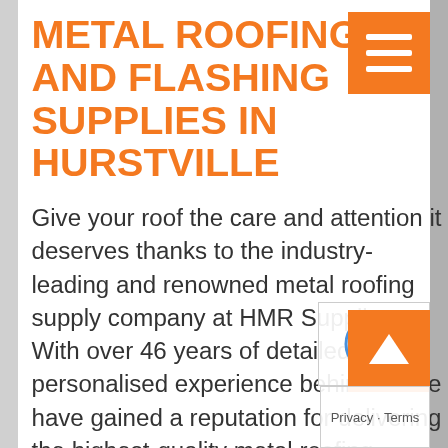METAL ROOFING AND FLASHING SUPPLIES IN HURSTVILLE
Give your roof the care and attention it deserves thanks to the industry-leading and renowned metal roofing supply company at HMR Supplies. With over 46 years of detailed and personalised experience behind us we have gained a reputation for delivering the highest-quality metal roofing supplies Hurstville residents have been searching for.
Made from the best materials our metal roofing supplies are specifically designed and fabricated to last in Australia's unique and extreme environment. Custom-made to suit your home or business, our metal